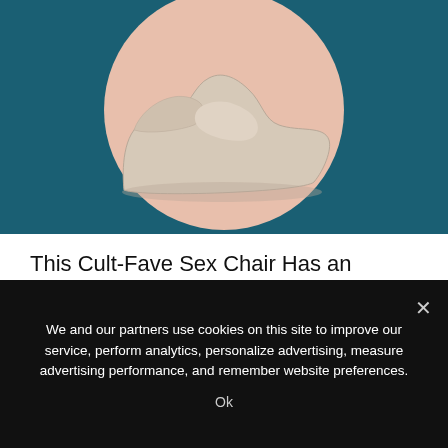[Figure (photo): A wavy ergonomic chaise lounge / sex chair in beige/cream color displayed on a peach-pink circle against a dark teal background.]
This Cult-Fave Sex Chair Has an Amazon Alternative For a Fraction of the Price
We and our partners use cookies on this site to improve our service, perform analytics, personalize advertising, measure advertising performance, and remember website preferences.
Ok